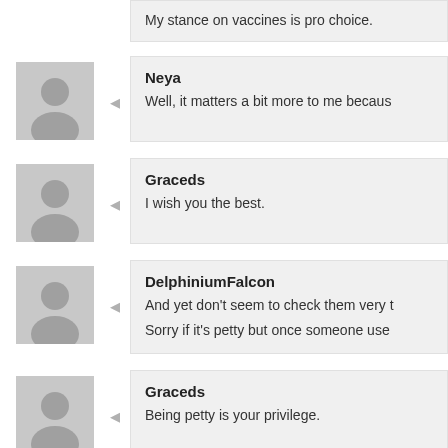My stance on vaccines is pro choice.
Neya
Well, it matters a bit more to me becaus
Graceds
I wish you the best.
DelphiniumFalcon
And yet don't seem to check them very t
Sorry if it's petty but once someone use
Graceds
Being petty is your privilege.